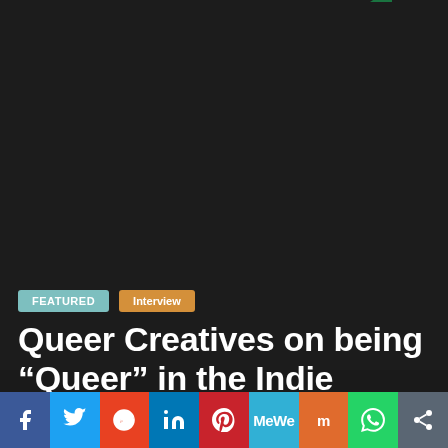[Figure (photo): Dark background image (near-black) occupying the upper portion of the page]
FEATURED   Interview
Queer Creatives on being “Queer” in the Indie Music Space
March 23, 2021   Pallavi Kapoor   lgbt, pride, queer,
[Figure (infographic): Social media sharing bar with icons: Facebook, Twitter, Reddit, LinkedIn, Pinterest, MeWe, Mix, WhatsApp, Share]